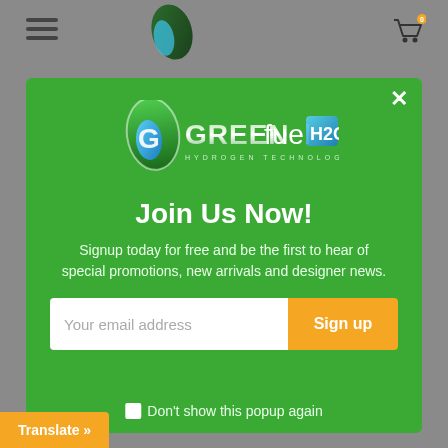[Figure (screenshot): Website header with hamburger menu, leaf logo, and cart icon on grey background]
[Figure (logo): GREENfuelH20 Hydrogen Technology logo with green leaf and blue water drop]
Join Us Now!
Signup today for free and be the first to hear of special promotions, new arrivals and designer news.
Your email address
Sign up
Don't show this popup again
Translate »